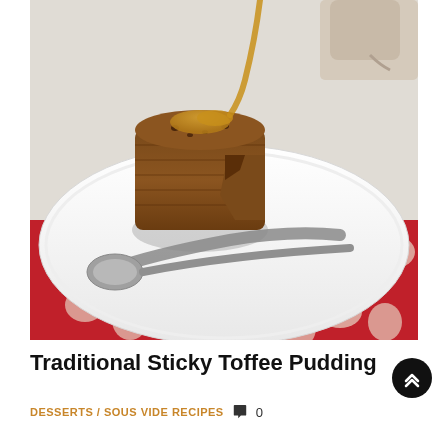[Figure (photo): A sticky toffee pudding cake on a white scalloped plate with a spoon, toffee sauce being poured over it from a jug. Red floral cloth napkin in background.]
Traditional Sticky Toffee Pudding
DESSERTS / SOUS VIDE RECIPES  0